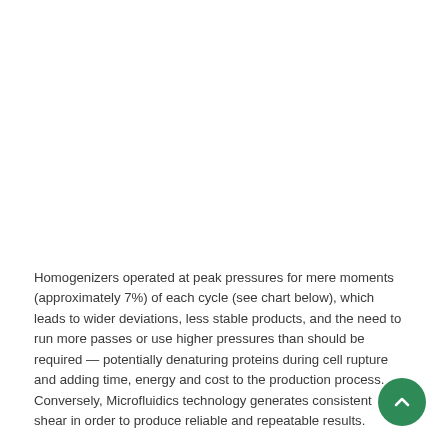Homogenizers operated at peak pressures for mere moments (approximately 7%) of each cycle (see chart below), which leads to wider deviations, less stable products, and the need to run more passes or use higher pressures than should be required — potentially denaturing proteins during cell rupture and adding time, energy and cost to the production process. Conversely, Microfluidics technology generates consistent shear in order to produce reliable and repeatable results.